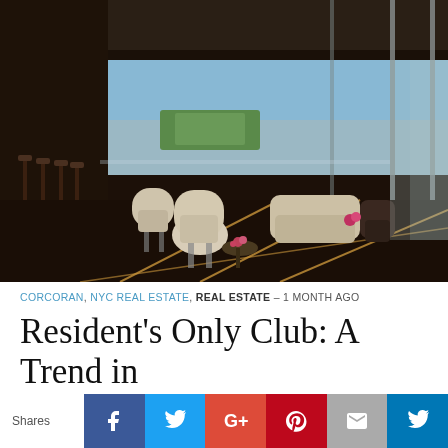[Figure (photo): Luxury high-rise lounge/club interior with cream chairs, dark wood floor with geometric inlay, round tables with pink flowers, floor-to-ceiling windows showing aerial view of Central Park and New York City skyline]
CORCORAN, NYC REAL ESTATE, REAL ESTATE - 1 MONTH AGO
Resident's Only Club: A Trend in New Development...
Shares
Social share buttons: Facebook, Twitter, Google+, Pinterest, Email, LinkedIn